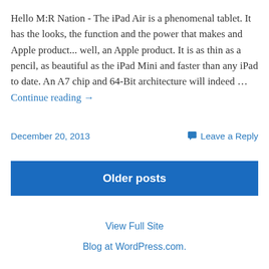Hello M:R Nation - The iPad Air is a phenomenal tablet. It has the looks, the function and the power that makes and Apple product... well, an Apple product. It is as thin as a pencil, as beautiful as the iPad Mini and faster than any iPad to date. An A7 chip and 64-Bit architecture will indeed … Continue reading →
December 20, 2013
Leave a Reply
Older posts
View Full Site
Blog at WordPress.com.